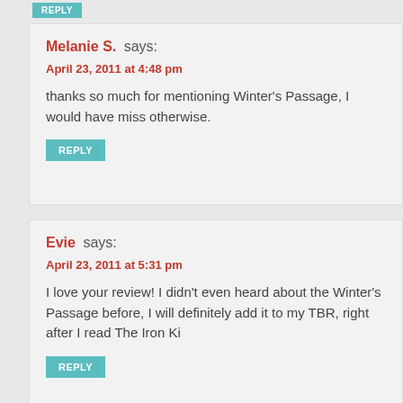Melanie S. says:
April 23, 2011 at 4:48 pm
thanks so much for mentioning Winter's Passage, I would have miss otherwise.
REPLY
Evie says:
April 23, 2011 at 5:31 pm
I love your review! I didn't even heard about the Winter's Passage before, I will definitely add it to my TBR, right after I read The Iron Ki
REPLY
Lane says:
April 23, 2011 at 11:56 pm
How did I miss this? I was with out internet for a month I missed a lo